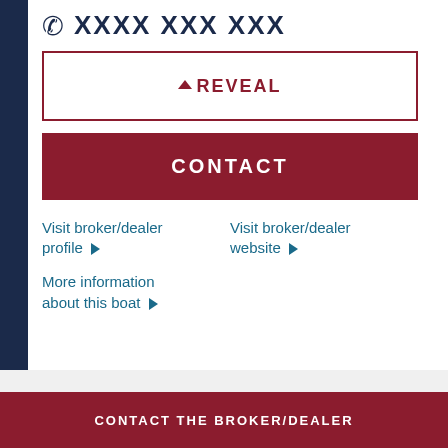XXXX XXX XXX
▲ REVEAL
CONTACT
Visit broker/dealer profile ▶
Visit broker/dealer website ▶
More information about this boat ▶
CONTACT THE BROKER/DEALER